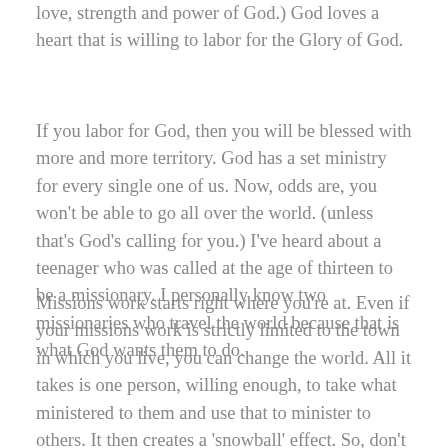love, strength and power of God.) God loves a heart that is willing to labor for the Glory of God.
If you labor for God, then you will be blessed with more and more territory. God has a set ministry for every single one of us. Now, odds are, you won't be able to go all over the world. (unless that's God's calling for you.) I've heard about a teenager who was called at the age of thirteen to be a missionary. I personally know two missionaries who travel the world because that is what God wants them to do.
Missions work starts right where you're at. Even if your missions work is strictly limited to the town in which you live, you can change the world. All it takes is one person, willing enough, to take what ministered to them and use that to minister to others. It then creates a 'snowball' effect. So, don't get discouraged if you can work your ministry in one small place.